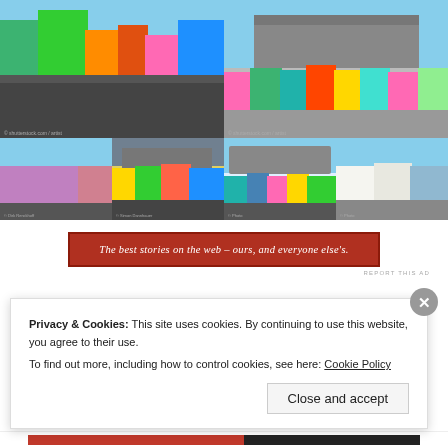[Figure (photo): Two large photos of Bo-Kaap neighborhood in Cape Town showing colorful houses along cobblestone streets with Table Mountain in background]
[Figure (photo): Four smaller photos of Bo-Kaap neighborhood showing colorful buildings in pink, yellow, green, and pastel colors]
[Figure (screenshot): Red advertisement banner reading: The best stories on the web – ours, and everyone else's. With REPORT THIS AD label below.]
Privacy & Cookies: This site uses cookies. By continuing to use this website, you agree to their use.
To find out more, including how to control cookies, see here: Cookie Policy
Close and accept